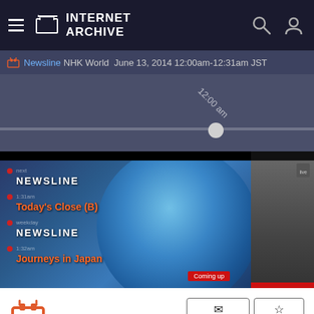INTERNET ARCHIVE
Newsline  NHK World  June 13, 2014 12:00am-12:31am JST
[Figure (screenshot): Video timeline scrubber showing 12:00 am marker position on a dark purple-gray background]
[Figure (screenshot): NHK World Newsline broadcast thumbnail showing globe graphic with program schedule overlay including 'NEWSLINE', "Today's Close (B)", 'NEWSLINE', 'Journeys in Japan' and 'Coming up' badge]
[Figure (screenshot): Partial second video thumbnail to the right showing gray content with red bar]
[Figure (logo): Orange TV icon on white background]
Borrow Program
Favorite
Newsline
NHK World June 13, 2014 12:00am-12:31am JST